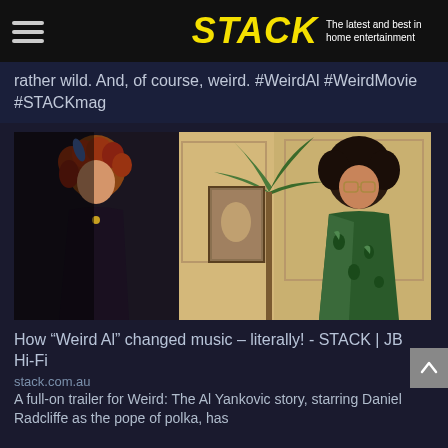STACK - The latest and best in home entertainment
rather wild. And, of course, weird. #WeirdAl #WeirdMovie #STACKmag
[Figure (photo): Movie still from Weird: The Al Yankovic Story showing two characters facing each other in an ornate interior setting]
How “Weird Al” changed music – literally! - STACK | JB Hi-Fi
stack.com.au
A full-on trailer for Weird: The Al Yankovic story, starring Daniel Radcliffe as the pope of polka, has dropped, and it’s rather wild. And, of course, funny.